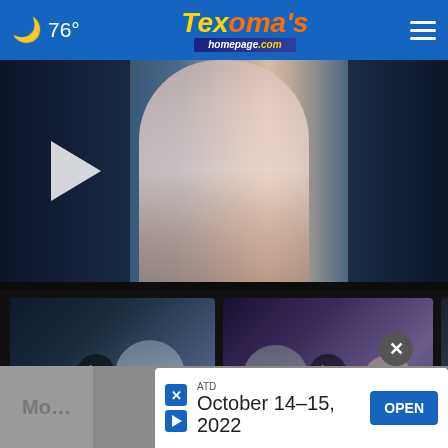🌙 76° — Texoma's homepage.com
[Figure (screenshot): News anchor woman in light pink dress standing at news desk, with city background]
[Figure (screenshot): Thumbnail: CLAY CO MEMORIAL HOSPITAL Q&A, 4 hours ago, female anchor]
[Figure (screenshot): Thumbnail: HIGH-SPEED CHASE IN MONTAGUE CO, 4 hours ago, male and female anchors]
[Figure (screenshot): Thumbnail: WTT: SCAM, partially visible, male anchor]
ATD
October 14–15, 2022
OPEN
Mo...